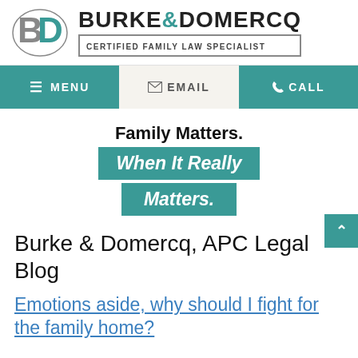[Figure (logo): Burke & Domercq law firm logo with BD monogram icon and text 'BURKE & DOMERCQ – CERTIFIED FAMILY LAW SPECIALIST']
MENU  EMAIL  CALL
Family Matters. When It Really Matters.
Burke & Domercq, APC Legal Blog
Emotions aside, why should I fight for the family home?